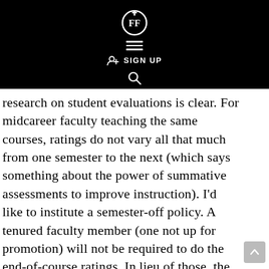[Figure (screenshot): Black header bar with a circular logo icon (stylized FF letters), hamburger menu lines, SIGN UP button with person-plus icon, and a search magnifying glass icon, all in white on black background.]
research on student evaluations is clear. For midcareer faculty teaching the same courses, ratings do not vary all that much from one semester to the next (which says something about the power of summative assessments to improve instruction). I'd like to institute a semester-off policy. A tenured faculty member (one not up for promotion) will not be required to do the end-of-course ratings. In lieu of those, the faculty member will select and undertake a series of formative assessments. The person will not be expected to report results, only to document that the activities can be completed. Would there be